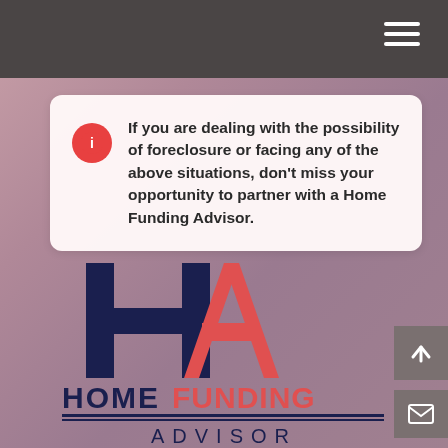[Figure (screenshot): Dark gray top navigation bar with white hamburger menu icon on the right]
If you are dealing with the possibility of foreclosure or facing any of the above situations, don't miss your opportunity to partner with a Home Funding Advisor.
[Figure (logo): Home Funding Advisor logo — large 'H' and 'A' monogram in navy blue and coral/red, with 'HOME FUNDING ADVISOR' text below in navy and coral]